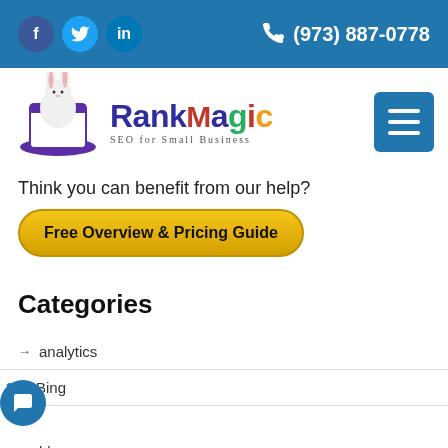f  in  (973) 887-0778
[Figure (logo): RankMagic SEO for Small Business logo with rabbit in magic hat]
Think you can benefit from our help?
Free Overview & Pricing Guide
Categories
analytics
2  Bing
blogs